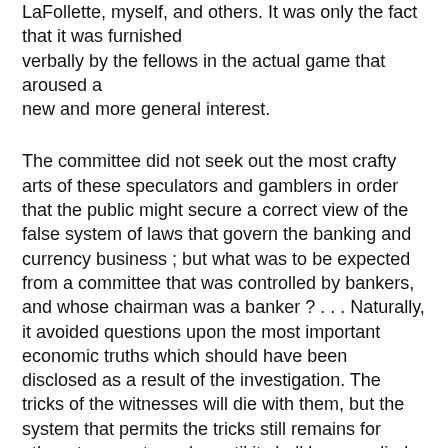LaFollette, myself, and others. It was only the fact that it was furnished verbally by the fellows in the actual game that aroused a new and more general interest.
The committee did not seek out the most crafty arts of these speculators and gamblers in order that the public might secure a correct view of the false system of laws that govern the banking and currency business ; but what was to be expected from a committee that was controlled by bankers, and whose chairman was a banker ? . . . Naturally, it avoided questions upon the most important economic truths which should have been disclosed as a result of the investigation. The tricks of the witnesses will die with them, but the system that permits the tricks still remains for others to operate under until it shall be remedied.
A sub-committee was created to propose a remedy. This committee is also controlled by the bankers, and has a